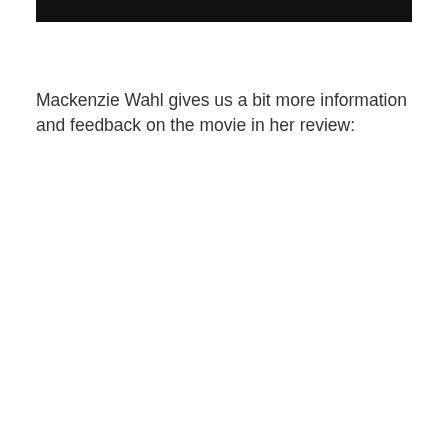[Figure (other): Black rectangular bar at the top of the page]
Mackenzie Wahl gives us a bit more information and feedback on the movie in her review: